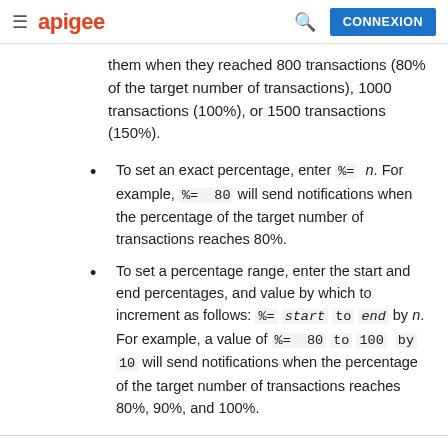apigee | CONNEXION
them when they reached 800 transactions (80% of the target number of transactions), 1000 transactions (100%), or 1500 transactions (150%).
To set an exact percentage, enter %= n. For example, %= 80 will send notifications when the percentage of the target number of transactions reaches 80%.
To set a percentage range, enter the start and end percentages, and value by which to increment as follows: %= start to end by n. For example, a value of %= 80 to 100 by 10 will send notifications when the percentage of the target number of transactions reaches 80%, 90%, and 100%.
To set up the notification action, under actions set the following values. For more information, see Configuration